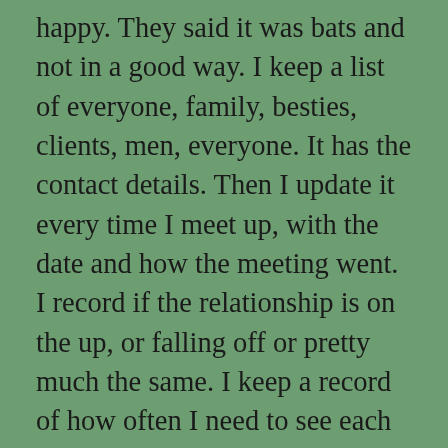happy. They said it was bats and not in a good way. I keep a list of everyone, family, besties, clients, men, everyone. It has the contact details. Then I update it every time I meet up, with the date and how the meeting went. I record if the relationship is on the up, or falling off or pretty much the same. I keep a record of how often I need to see each person to keep them happy, or to make the relationship tick-over, or to improve the relationship. I have to see family once a month, or they get riled. Then I have bulletpoints of topics to avoid, or gossip they loved or something else. I heard that I